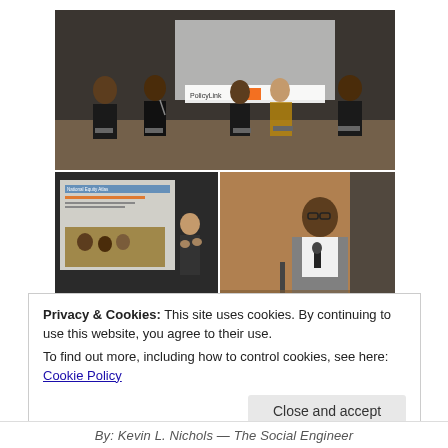[Figure (photo): Top photo: panel discussion with five people seated on a stage in front of a projected screen showing a PolicyLink logo. Bottom-left photo: presenter standing next to a projected National Equity Atlas slide showing children and data. Bottom-right photo: a man in a grey suit speaking into a microphone on a stage.]
Privacy & Cookies: This site uses cookies. By continuing to use this website, you agree to their use.
To find out more, including how to control cookies, see here: Cookie Policy
Close and accept
By: Kevin L. Nichols — The Social Engineer